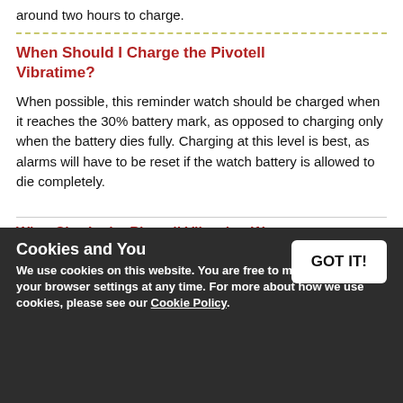around two hours to charge.
When Should I Charge the Pivotell Vibratime?
When possible, this reminder watch should be charged when it reaches the 30% battery mark, as opposed to charging only when the battery dies fully. Charging at this level is best, as alarms will have to be reset if the watch battery is allowed to die completely.
What Size Is the Pivotell Vibrating Watch?
size with an adjustable strap that should fit most
Cookies and You
We use cookies on this website. You are free to manage these via your browser settings at any time. For more about how we use cookies, please see our Cookie Policy.